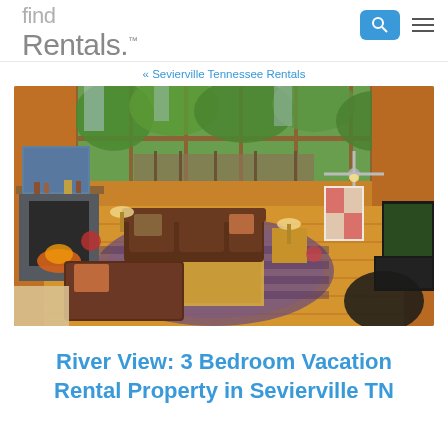find Rentals.
« Sevierville Tennessee Rentals
[Figure (photo): Interior aerial/overhead view of a log cabin living room with large floor-to-ceiling windows overlooking green trees. Features leather sofas, fireplace, ceiling fan, TV, area rug, wood floors and walls.]
River View: 3 Bedroom Vacation Rental Property in Sevierville TN